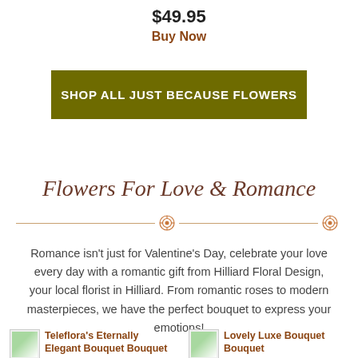$49.95
Buy Now
SHOP ALL JUST BECAUSE FLOWERS
Flowers For Love & Romance
Romance isn't just for Valentine's Day, celebrate your love every day with a romantic gift from Hilliard Floral Design, your local florist in Hilliard. From romantic roses to modern masterpieces, we have the perfect bouquet to express your emotions!
Teleflora's Eternally Elegant Bouquet Bouquet
Lovely Luxe Bouquet Bouquet